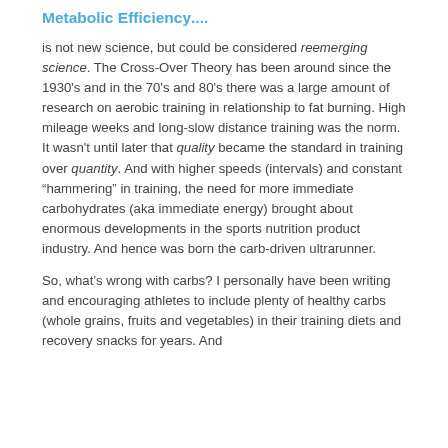Metabolic Efficiency....
is not new science, but could be considered reemerging science. The Cross-Over Theory has been around since the 1930's and in the 70's and 80's there was a large amount of research on aerobic training in relationship to fat burning. High mileage weeks and long-slow distance training was the norm. It wasn't until later that quality became the standard in training over quantity. And with higher speeds (intervals) and constant “hammering” in training, the need for more immediate carbohydrates (aka immediate energy) brought about enormous developments in the sports nutrition product industry. And hence was born the carb-driven ultrarunner.
So, what’s wrong with carbs? I personally have been writing and encouraging athletes to include plenty of healthy carbs (whole grains, fruits and vegetables) in their training diets and recovery snacks for years. And